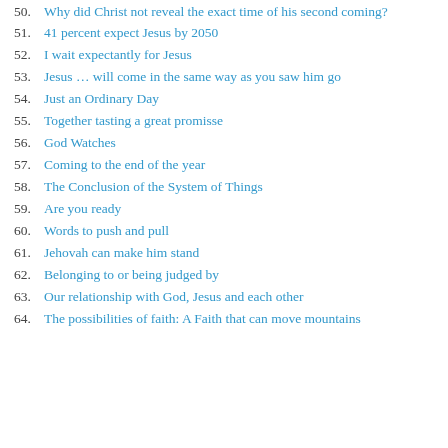50. Why did Christ not reveal the exact time of his second coming?
51. 41 percent expect Jesus by 2050
52. I wait expectantly for Jesus
53. Jesus … will come in the same way as you saw him go
54. Just an Ordinary Day
55. Together tasting a great promisse
56. God Watches
57. Coming to the end of the year
58. The Conclusion of the System of Things
59. Are you ready
60. Words to push and pull
61. Jehovah can make him stand
62. Belonging to or being judged by
63. Our relationship with God, Jesus and each other
64. The possibilities of faith: A Faith that can move mountains